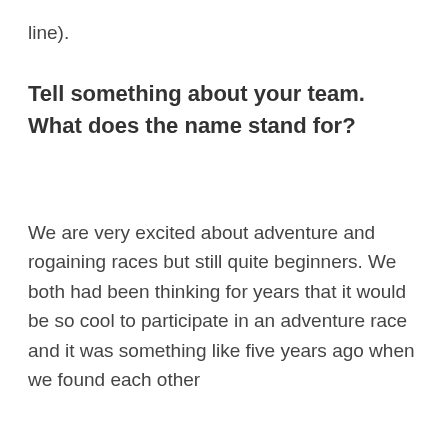line).
Tell something about your team. What does the name stand for?
We are very excited about adventure and rogaining races but still quite beginners. We both had been thinking for years that it would be so cool to participate in an adventure race and it was something like five years ago when we found each other